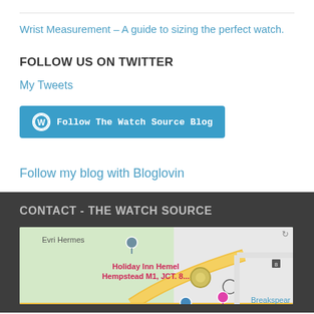Wrist Measurement – A guide to sizing the perfect watch.
FOLLOW US ON TWITTER
My Tweets
[Figure (other): Follow The Watch Source Blog button with WordPress icon]
Follow my blog with Bloglovin
CONTACT - THE WATCH SOURCE
[Figure (map): Google map showing location near Holiday Inn Hemel Hempstead M1, JCT. 8 and Breakspear Park, with Evri Hermes marker]